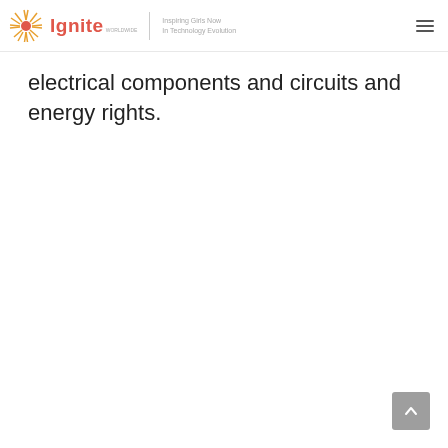Ignite Worldwide — Inspiring Girls Now In Technology Evolution
electrical components and circuits and energy rights.